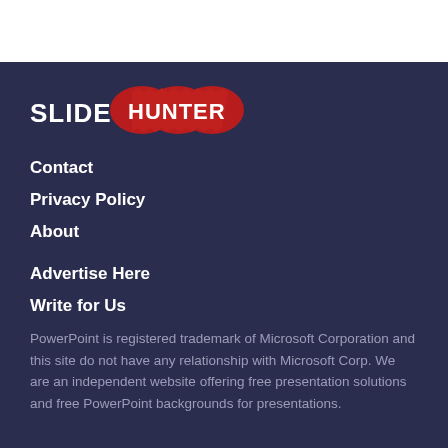[Figure (logo): SlideHunter logo: white text 'SLIDE' followed by 'HUNTER' in white bold text on a red multi-pointed badge shape]
Contact
Privacy Policy
About
Advertise Here
Write for Us
PowerPoint is registered trademark of Microsoft Corporation and this site do not have any relationship with Microsoft Corp. We are an independent website offering free presentation solutions and free PowerPoint backgrounds for presentations.